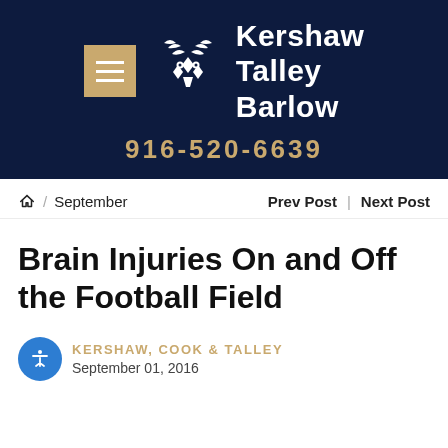[Figure (logo): Kershaw Talley Barlow law firm header with logo, menu button, and phone number 916-520-6639 on dark navy background]
🏠 / September   Prev Post | Next Post
Brain Injuries On and Off the Football Field
KERSHAW, COOK & TALLEY
September 01, 2016